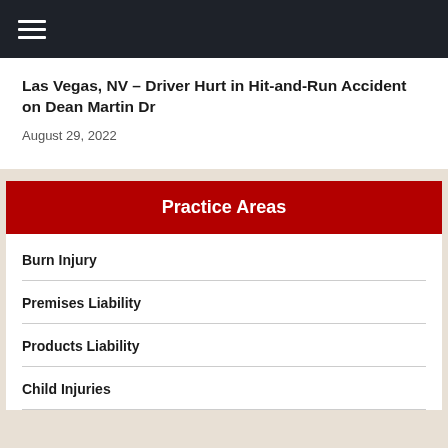Navigation menu
Las Vegas, NV – Driver Hurt in Hit-and-Run Accident on Dean Martin Dr
August 29, 2022
Practice Areas
Burn Injury
Premises Liability
Products Liability
Child Injuries